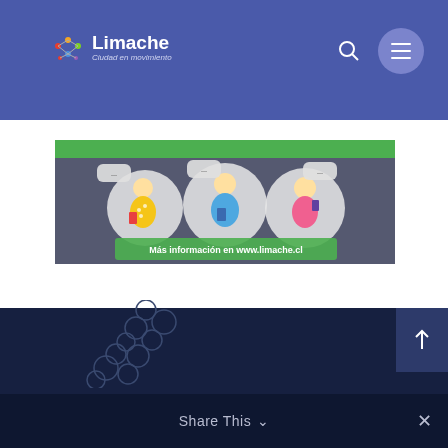Limache — Ciudad en movimiento
[Figure (illustration): Promotional banner from Limache municipality showing three illustrated young people using smartphones with speech bubbles, on a gray/green background with text 'Más información en www.limache.cl']
Share This ∨  ✕